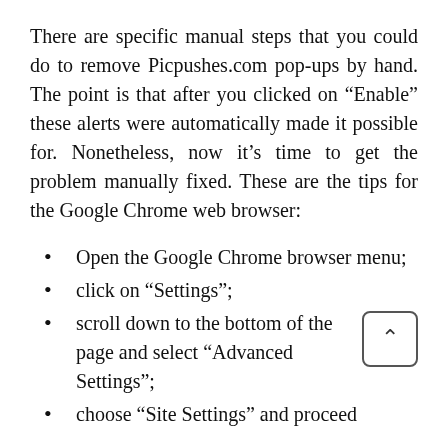There are specific manual steps that you could do to remove Picpushes.com pop-ups by hand. The point is that after you clicked on “Enable” these alerts were automatically made it possible for. Nonetheless, now it’s time to get the problem manually fixed. These are the tips for the Google Chrome web browser:
Open the Google Chrome browser menu;
click on “Settings”;
scroll down to the bottom of the page and select “Advanced Settings”;
choose “Site Settings” and proceed